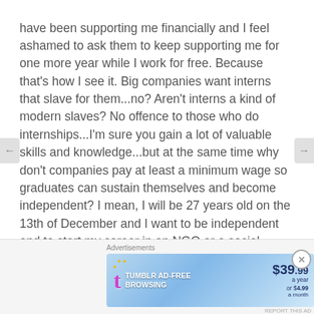have been supporting me financially and I feel ashamed to ask them to keep supporting me for one more year while I work for free. Because that's how I see it. Big companies want interns that slave for them...no? Aren't interns a kind of modern slaves? No offence to those who do internships...I'm sure you gain a lot of valuable skills and knowledge...but at the same time why don't companies pay at least a minimum wage so graduates can sustain themselves and become independent? I mean, I will be 27 years old on the 13th of December and I want to be independent and to start my career in an NGO or a social  entrepreneurship group. Because my studies are related to that and afterall, this is my passion. Why don't I get the chance to do that? I mean, what's the point of studying at all if all I get to do is an
[Figure (screenshot): Tumblr AD-FREE BROWSING advertisement banner showing $39.99 a year or $4.99 a month]